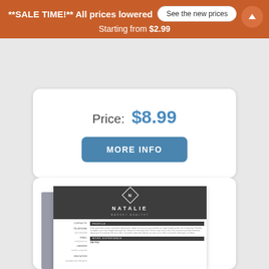**SALE TIME!** All prices lowered  See the new prices  Starting from $2.99
Price:  $8.99
MORE INFO
[Figure (illustration): Preview of a resume template named 'Natalie - Market Analyst' with a dark gray header, diamond logo, contacts section, profile section, and work experience section.]